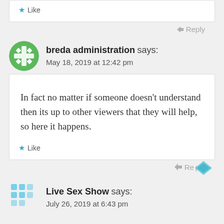Like
Reply
breda administration says: May 18, 2019 at 12:42 pm
In fact no matter if someone doesn’t understand then its up to other viewers that they will help, so here it happens.
Like
Reply
Live Sex Show says: July 26, 2019 at 6:43 pm